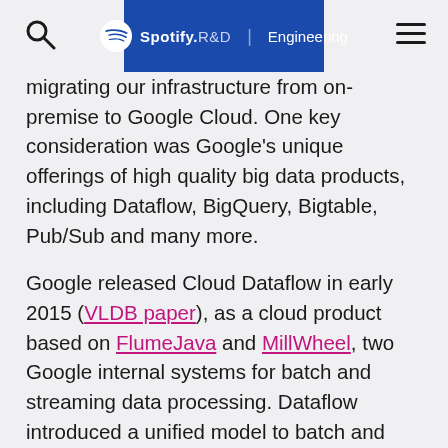Spotify R&D | Engineering
migrating our infrastructure from on-premise to Google Cloud. One key consideration was Google's unique offerings of high quality big data products, including Dataflow, BigQuery, Bigtable, Pub/Sub and many more.
Google released Cloud Dataflow in early 2015 (VLDB paper), as a cloud product based on FlumeJava and MillWheel, two Google internal systems for batch and streaming data processing. Dataflow introduced a unified model to batch and streaming that consolidates ideas from these previous systems, and the Google later donated the model and SDK code to the Apache Software Foundation as Apache Beam. With Beam, an end user can build a pipeline using one of the SDKs